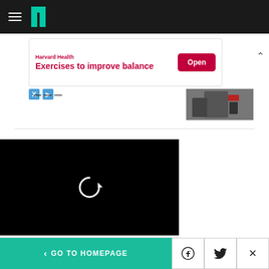HuffPost navigation bar with hamburger menu and logo
[Figure (screenshot): Advertisement banner: Harvard Health - Exercises to improve balance, with Open button]
— — —
[Figure (photo): Thumbnail of person in suit with red tie]
[Figure (screenshot): Black video player with replay/refresh icon in center]
< GO TO HOMEPAGE | Facebook icon | Twitter icon | X close